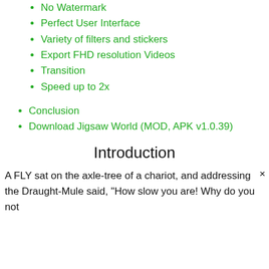No Watermark
Perfect User Interface
Variety of filters and stickers
Export FHD resolution Videos
Transition
Speed up to 2x
Conclusion
Download Jigsaw World (MOD, APK v1.0.39)
Introduction
A FLY sat on the axle-tree of a chariot, and addressing the Draught-Mule said, "How slow you are! Why do you not